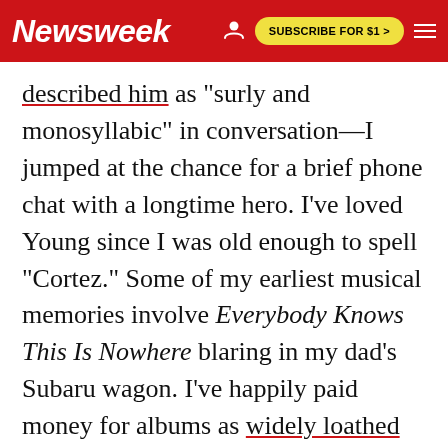Newsweek | SUBSCRIBE FOR $1 >
described him as "surly and monosyllabic" in conversation—I jumped at the chance for a brief phone chat with a longtime hero. I've loved Young since I was old enough to spell "Cortez." Some of my earliest musical memories involve Everybody Knows This Is Nowhere blaring in my dad's Subaru wagon. I've happily paid money for albums as widely loathed as Fork in the Road and Everybody's Rockin'. And in April of this year, I traveled to Seattle to give a Pop Conference presentation